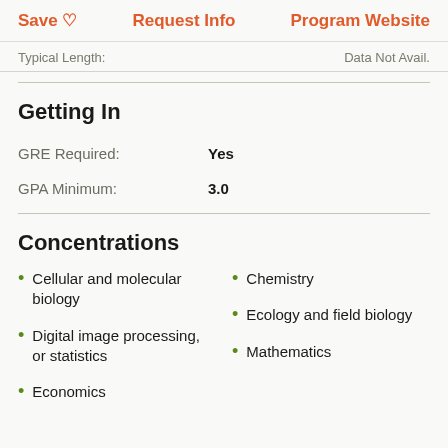Save ♡   Request Info   Program Website
Typical Length:   Data Not Avail.
Getting In
GRE Required: Yes
GPA Minimum: 3.0
Concentrations
Cellular and molecular biology
Chemistry
Digital image processing, or statistics
Ecology and field biology
Economics
Mathematics